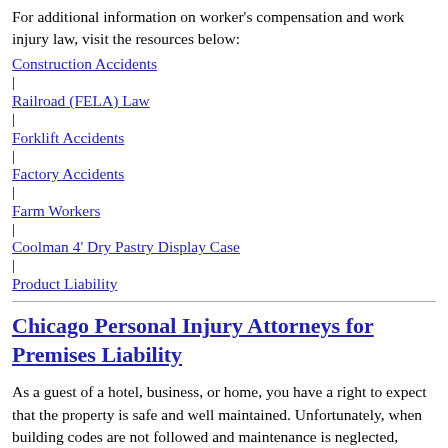For additional information on worker's compensation and work injury law, visit the resources below:
Construction Accidents
Railroad (FELA) Law
Forklift Accidents
Factory Accidents
Farm Workers
Coolman 4' Dry Pastry Display Case
Product Liability
Chicago Personal Injury Attorneys for Premises Liability
As a guest of a hotel, business, or home, you have a right to expect that the property is safe and well maintained. Unfortunately, when building codes are not followed and maintenance is neglected,